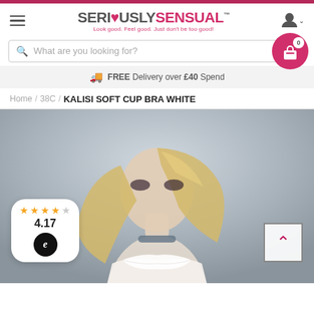SERIOUSLYSENSUAL™ — Look good. Feel good. Just don't be too good!
What are you looking for?
FREE Delivery over £40 Spend
Home / 38C / KALISI SOFT CUP BRA WHITE
[Figure (photo): Product photo of a blonde female model wearing a white lace Kalisi Soft Cup Bra against a grey background. A rating badge overlay shows 4 filled stars and 1 empty star with score 4.17 and an Ekomi certification logo. An up-arrow navigation button is visible at the bottom right.]